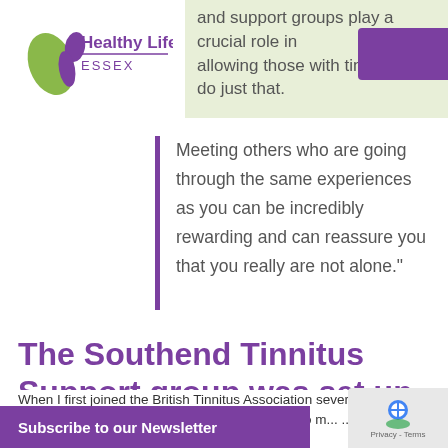[Figure (logo): Healthy Life Essex logo with leaf/figure icon in green and purple]
and support groups play a crucial role in allowing those with tinnitus to do just that.
Meeting others who are going through the same experiences as you can be incredibly rewarding and can reassure you that you really are not alone."
The Southend Tinnitus Support group was set up by Tony Riebold. This is his story:
When I first joined the British Tinnitus Association several y... ago the nearest support group was Redbridge and due to m... ...nts only. I am delighted that the